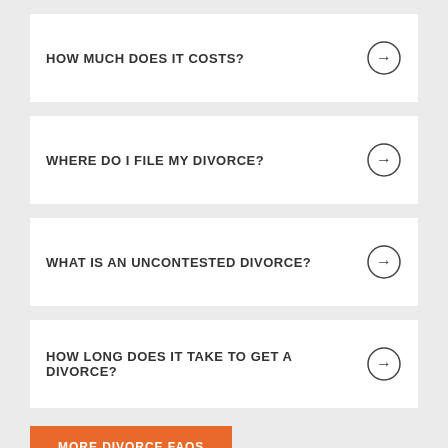HOW MUCH DOES IT COSTS?
WHERE DO I FILE MY DIVORCE?
WHAT IS AN UNCONTESTED DIVORCE?
HOW LONG DOES IT TAKE TO GET A DIVORCE?
MORE DIVORCE FAQS
QUICK CONTACT